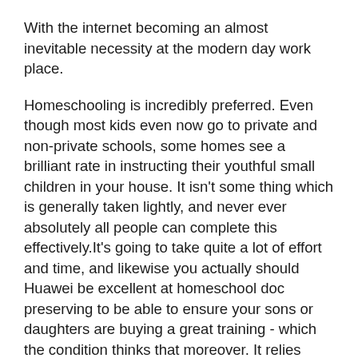With the internet becoming an almost inevitable necessity at the modern day work place.
Homeschooling is incredibly preferred. Even though most kids even now go to private and non-private schools, some homes see a brilliant rate in instructing their youthful small children in your house. It isn't some thing which is generally taken lightly, and never ever absolutely all people can complete this effectively.It's going to take quite a lot of effort and time, and likewise you actually should Huawei be excellent at homeschool doc preserving to be able to ensure your sons or daughters are buying a great training - which the condition thinks that moreover. It relies upon with regards to the district and point out, but every single relations that homeschools should really report once again several periods a 12 months so that they can be favourable things are likely because Huawei Certified Network Associate HC-711